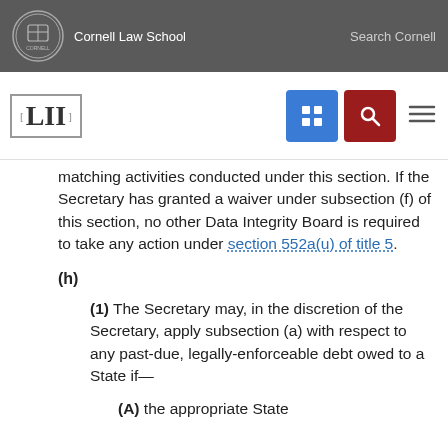Cornell Law School | Search Cornell
matching activities conducted under this section. If the Secretary has granted a waiver under subsection (f) of this section, no other Data Integrity Board is required to take any action under section 552a(u) of title 5.
(h)
(1) The Secretary may, in the discretion of the Secretary, apply subsection (a) with respect to any past-due, legally-enforceable debt owed to a State if—
(A) the appropriate State